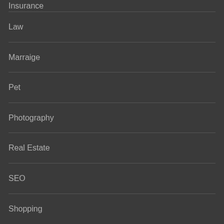Insurance
Law
Marraige
Pet
Photography
Real Estate
SEO
Shopping